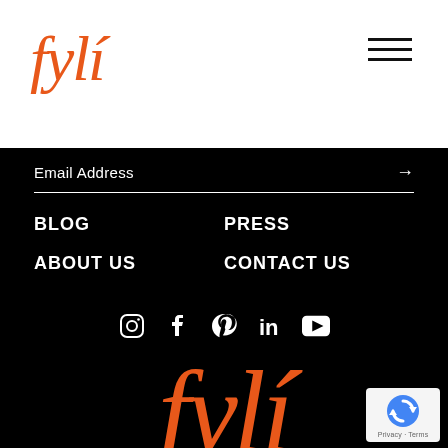[Figure (logo): fylí logo in orange italic serif font, top left of white header]
[Figure (illustration): Hamburger menu icon (three horizontal lines) top right of white header]
Email Address
BLOG
ABOUT US
PRESS
CONTACT US
[Figure (illustration): Social media icons row: Instagram, Facebook, Pinterest, LinkedIn, YouTube — white on black background]
[Figure (logo): Large fylí logo in orange italic serif font centered on black background]
[Figure (other): Google reCAPTCHA badge bottom right corner, Privacy - Terms text]